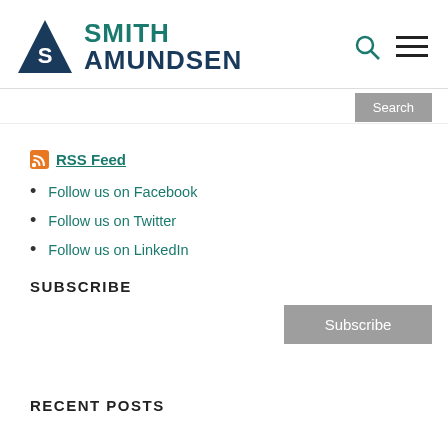[Figure (logo): Smith Amundsen law firm logo with triangle icon and teal/navy text]
RSS Feed
Follow us on Facebook
Follow us on Twitter
Follow us on LinkedIn
SUBSCRIBE
RECENT POSTS